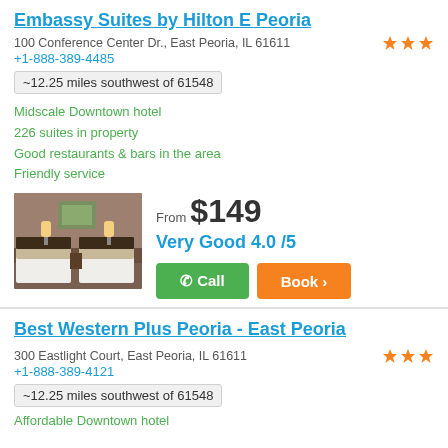Embassy Suites by Hilton E Peoria
100 Conference Center Dr., East Peoria, IL 61611
+1-888-389-4485
~12.25 miles southwest of 61548
Midscale Downtown hotel
226 suites in property
Good restaurants & bars in the area
Friendly service
[Figure (photo): Hotel room interior with two beds, lamps, and dark headboards]
From $149
Very Good 4.0 /5
Best Western Plus Peoria - East Peoria
300 Eastlight Court, East Peoria, IL 61611
+1-888-389-4121
~12.25 miles southwest of 61548
Affordable Downtown hotel